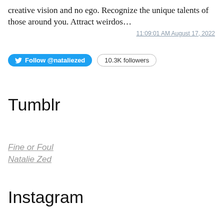creative vision and no ego. Recognize the unique talents of those around you. Attract weirdos…
11:09:01 AM August 17, 2022
Follow @nataliezed   10.3K followers
Tumblr
Fine or Foul
Natalie Zed
Instagram